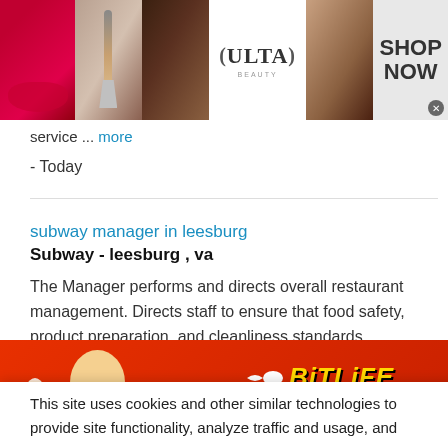[Figure (photo): Ulta Beauty advertisement banner showing makeup photos (lips, brush, eye) with Ulta logo and SHOP NOW text]
service ... more
- Today
subway manager in leesburg
Subway - leesburg , va
The Manager performs and directs overall restaurant management. Directs staff to ensure that food safety, product preparation, and cleanliness standards ... more
This site uses cookies and other similar technologies to provide site functionality, analyze traffic and usage, and
[Figure (photo): BitLife game advertisement with FAIL text, cartoon character, flame, sperm icon, BitLife logo in yellow, and START A NEW LIFE button on red background]